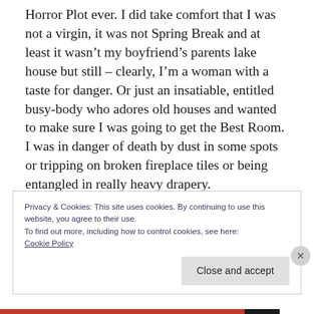Horror Plot ever. I did take comfort that I was not a virgin, it was not Spring Break and at least it wasn't my boyfriend's parents lake house but still – clearly, I'm a woman with a taste for danger. Or just an insatiable, entitled busy-body who adores old houses and wanted to make sure I was going to get the Best Room. I was in danger of death by dust in some spots or tripping on broken fireplace tiles or being entangled in really heavy drapery.
Privacy & Cookies: This site uses cookies. By continuing to use this website, you agree to their use.
To find out more, including how to control cookies, see here:
Cookie Policy
Close and accept